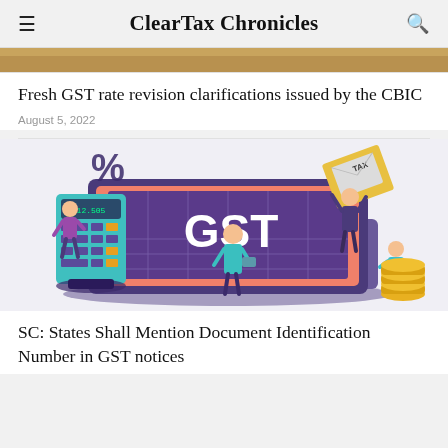ClearTax Chronicles
[Figure (photo): Partial top of an image showing a golden/yellow textured background, cropped at the top of the page]
Fresh GST rate revision clarifications issued by the CBIC
August 5, 2022
[Figure (illustration): Colorful illustration showing GST-related imagery: a large laptop screen displaying 'GST' in bold white text on a purple background, a calculator with a % symbol, cartoon people figures, a tax document envelope, and stacks of gold coins]
SC: States Shall Mention Document Identification Number in GST notices